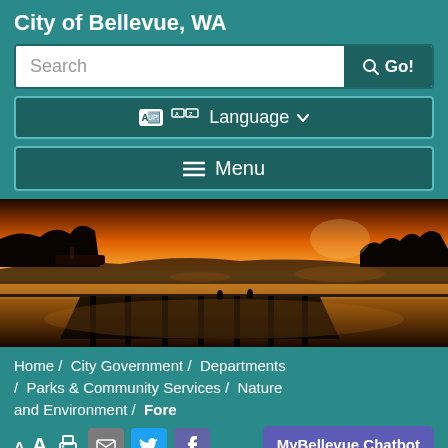City of Bellevue, WA
[Figure (screenshot): Search bar with text 'Search' and a dark teal 'Go!' button with magnifying glass icon]
[Figure (screenshot): Language selector button with translate icon and dropdown arrow]
[Figure (screenshot): Menu button with hamburger icon]
[Figure (photo): Panoramic photo of a waterfront dock at sunset with orange sky, silhouetted pier pilings, and misty water in the background]
Home /  City Government /  Departments /  Parks & Community Services /  Nature and Environment /  Fore
[Figure (screenshot): MyBellevue Chatbot button (purple/indigo)]
[Figure (screenshot): Toolbar with text resize icons (A small, A large), print icon, email icon (gray), Twitter icon (blue), Facebook icon (purple)]